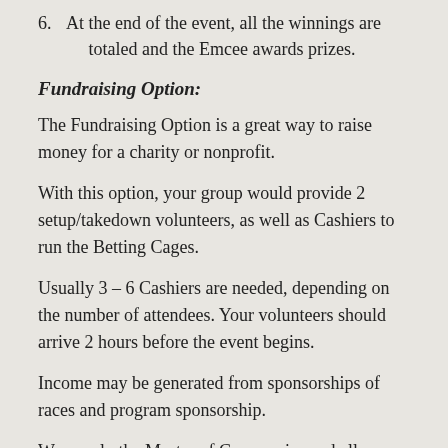6. At the end of the event, all the winnings are totaled and the Emcee awards prizes.
Fundraising Option:
The Fundraising Option is a great way to raise money for a charity or nonprofit.
With this option, your group would provide 2 setup/takedown volunteers, as well as Cashiers to run the Betting Cages.
Usually 3 – 6 Cashiers are needed, depending on the number of attendees. Your volunteers should arrive 2 hours before the event begins.
Income may be generated from sponsorships of races and program sponsorship.
We supply the Master of Ceremonies and all